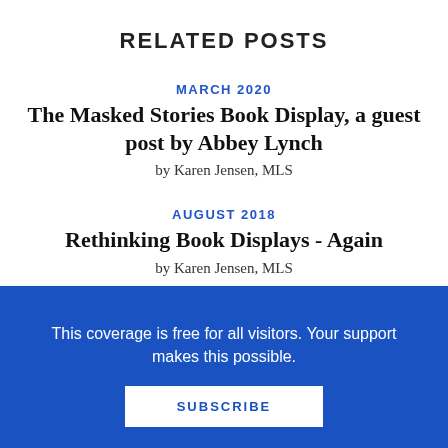RELATED POSTS
MARCH 2020
The Masked Stories Book Display, a guest post by Abbey Lynch
by Karen Jensen, MLS
AUGUST 2018
Rethinking Book Displays - Again
by Karen Jensen, MLS
MARCH 2018
This coverage is free for all visitors. Your support makes this possible.
SUBSCRIBE